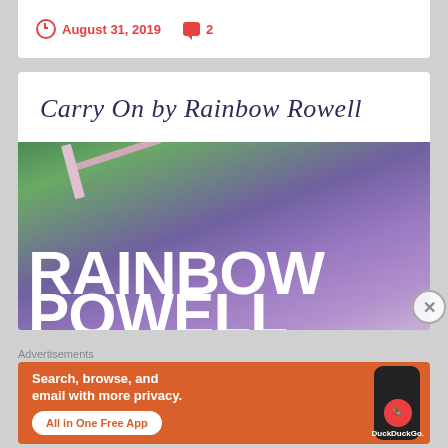August 31, 2019   2
Carry On by Rainbow Rowell
[Figure (photo): Book cover of Carry On by Rainbow Rowell showing characters holding a sword with large bold text RAINBOW POWELL]
Advertisements
[Figure (infographic): DuckDuckGo advertisement: Search, browse, and email with more privacy. All in One Free App.]